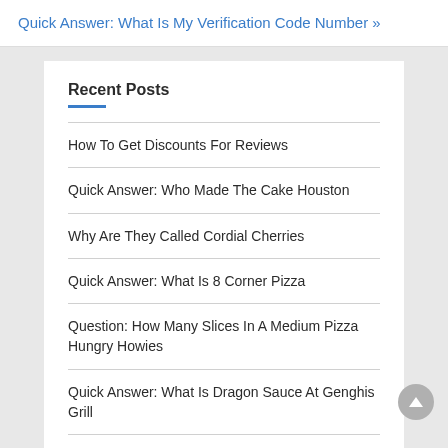Quick Answer: What Is My Verification Code Number »
Recent Posts
How To Get Discounts For Reviews
Quick Answer: Who Made The Cake Houston
Why Are They Called Cordial Cherries
Quick Answer: What Is 8 Corner Pizza
Question: How Many Slices In A Medium Pizza Hungry Howies
Quick Answer: What Is Dragon Sauce At Genghis Grill
How Do I Check My Outlook Password…